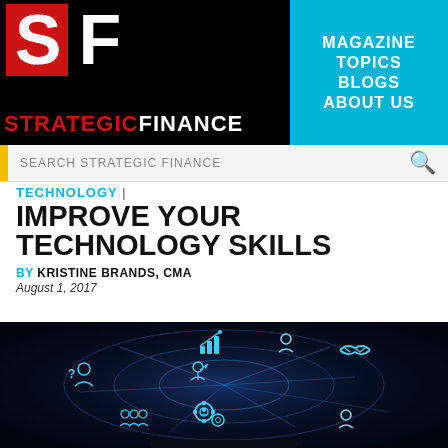STRATEGIC FINANCE | MAGAZINE TOPICS BLOGS ABOUT US
SEARCH STRATEGIC FINANCE
TECHNOLOGY |
IMPROVE YOUR TECHNOLOGY SKILLS
BY KRISTINE BRANDS, CMA
August 1, 2017
[Figure (photo): Dark background with glowing blue/cyan technology and business icons arranged in a circular network diagram — including chart, handshake, gears, people silhouettes, and question mark icons, forming a connected business ecosystem illustration.]